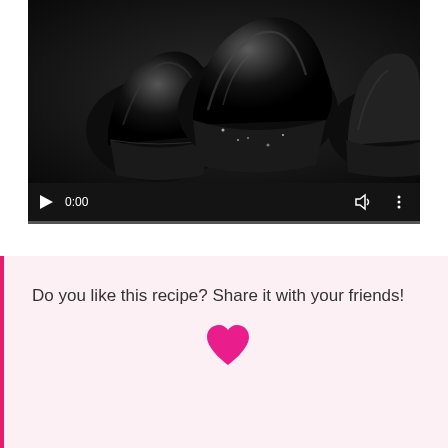[Figure (screenshot): Video player showing dark chocolate cupcakes with black frosting against a dark background. Controls show a play button, timestamp 0:00, volume icon, and more options icon. A progress bar runs along the bottom.]
Do you like this recipe? Share it with your friends!
[Figure (illustration): Pink heart icon]